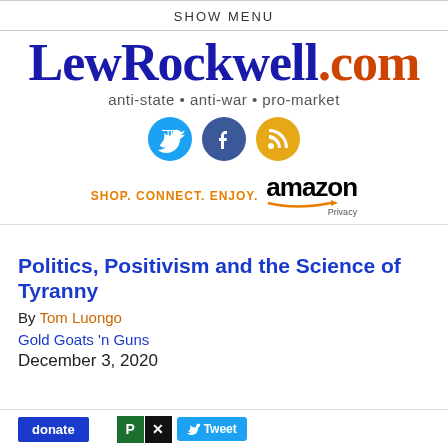SHOW MENU
[Figure (logo): LewRockwell.com logo with tagline 'anti-state • anti-war • pro-market' and social media icons (Twitter, Facebook, RSS) and Amazon advertisement bar]
Politics, Positivism and the Science of Tyranny
By Tom Luongo
Gold Goats 'n Guns
December 3, 2020